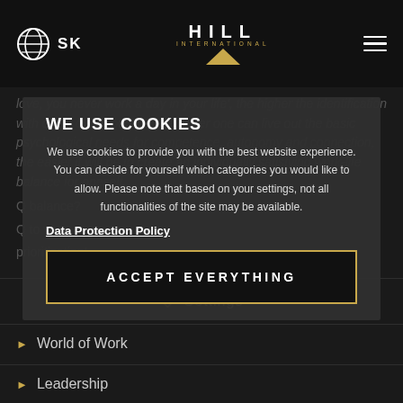SK | HILL INTERNATIONAL
love, you never work a day in your life', the higher the identification with one's own work and the better one can live out the basic psychological needs for competence, autonomy and connection, the easier it will be to create an individually satisfying work-life balance for oneself.
Q balance? Q to your prioritisation!
WE USE COOKIES
We use cookies to provide you with the best website experience. You can decide for yourself which categories you would like to allow. Please note that based on your settings, not all functionalities of the site may be available.
Data Protection Policy
ACCEPT EVERYTHING
Settings
World of Work
Leadership